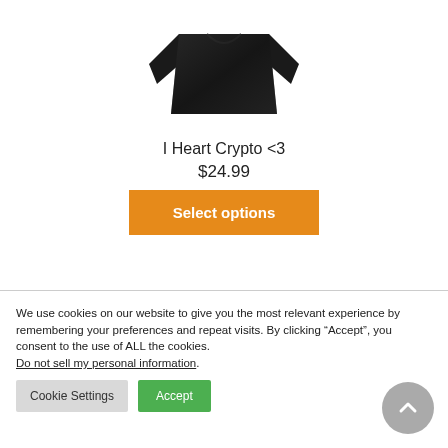[Figure (photo): Black long-sleeve shirt product photo on white background]
I Heart Crypto <3
$24.99
Select options
We use cookies on our website to give you the most relevant experience by remembering your preferences and repeat visits. By clicking “Accept”, you consent to the use of ALL the cookies.
Do not sell my personal information.
Cookie Settings
Accept